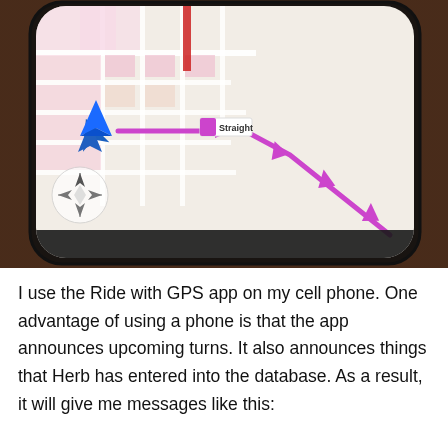[Figure (photo): A photo of a smartphone on a dark wooden table. The phone screen shows a GPS navigation map app (Ride with GPS) with a pink/light map, a blue navigation arrow, a purple route line with directional arrows going right, and a compass rose. The screen label reads 'Straight'.]
I use the Ride with GPS app on my cell phone. One advantage of using a phone is that the app announces upcoming turns. It also announces things that Herb has entered into the database. As a result, it will give me messages like this: